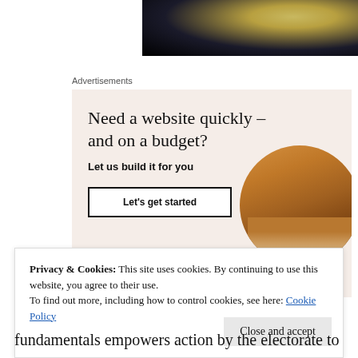[Figure (photo): Partial image at top of page showing a dark sky scene with a glowing object, cropped at the top]
Advertisements
[Figure (infographic): Advertisement banner with beige/cream background. Headline: 'Need a website quickly – and on a budget?'. Subtext: 'Let us build it for you'. Button: 'Let's get started'. Circular cropped photo of person's hands working on a laptop/tablet on the right side.]
Privacy & Cookies: This site uses cookies. By continuing to use this website, you agree to their use.
To find out more, including how to control cookies, see here: Cookie Policy
fundamentals empowers action by the electorate to